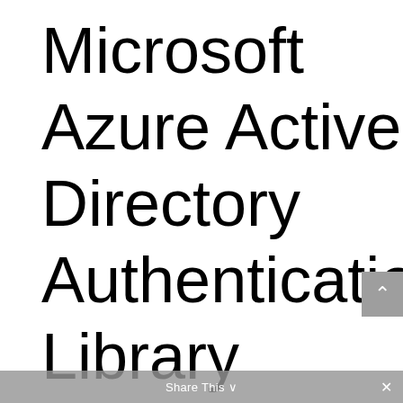Microsoft Azure Active Directory Authentication Library (ADAL)
[Figure (screenshot): Share This browser toolbar overlay at the bottom of the page with a close X button, and a scroll-up arrow button on the right side.]